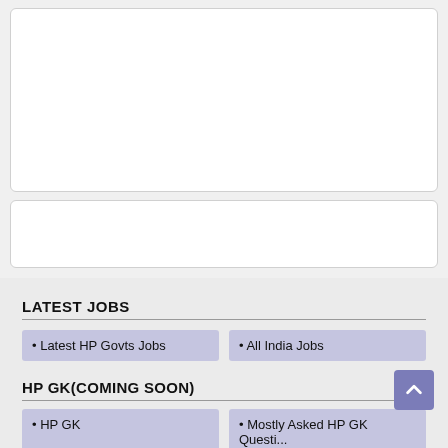[Figure (other): White rounded rectangle box (advertisement or content placeholder), top area]
[Figure (other): White rounded rectangle box (advertisement or content placeholder), second area]
LATEST JOBS
• Latest HP Govts Jobs
• All India Jobs
HP GK(COMING SOON)
• HP GK
• Mostly Asked HP GK Questi...
• 5000 HP GK Question Series
• Daily HP GK Question Answe...
• District Wise HP GK
• Hp History